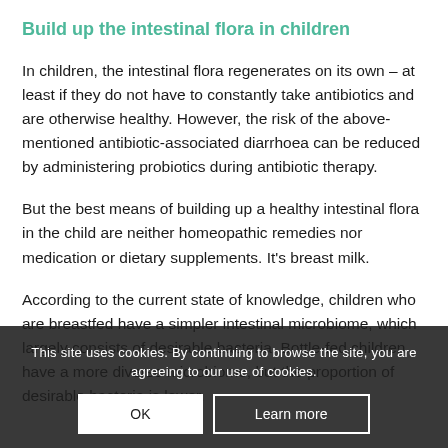Build up the intestinal flora in children
In children, the intestinal flora regenerates on its own – at least if they do not have to constantly take antibiotics and are otherwise healthy. However, the risk of the above-mentioned antibiotic-associated diarrhoea can be reduced by administering probiotics during antibiotic therapy.
But the best means of building up a healthy intestinal flora in the child are neither homeopathic remedies nor medication or dietary supplements. It's breast milk.
According to the current state of knowledge, children who are breastfed have a simpler intestinal microbiome, which largely consists of desirable bacteria. Bottle-fed children have a more diverse microbiome, but the proportion of desirable bacteria is lower.
This site uses cookies. By continuing to browse the site, you are agreeing to our use of cookies.